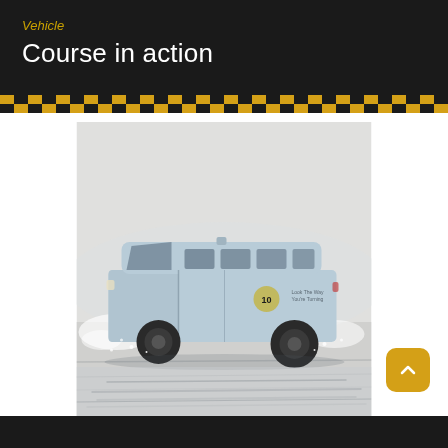Vehicle
Course in action
[Figure (photo): A light blue passenger van/minibus driving on a wet or snowy surface, with water/snow spray around the wheels. The van appears to be on a driving training course. The background is a wintry, misty outdoor environment.]
[Figure (other): Yellow and black back-to-top navigation button with upward chevron arrow]